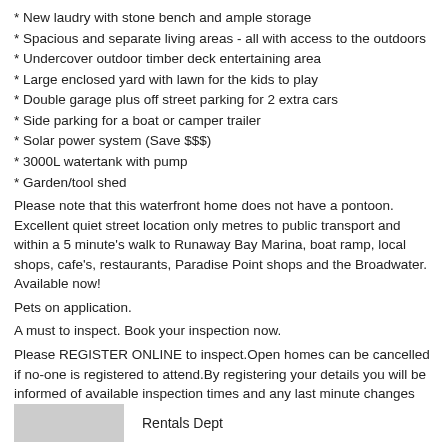* New laudry with stone bench and ample storage
* Spacious and separate living areas - all with access to the outdoors
* Undercover outdoor timber deck entertaining area
* Large enclosed yard with lawn for the kids to play
* Double garage plus off street parking for 2 extra cars
* Side parking for a boat or camper trailer
* Solar power system (Save $$$)
* 3000L watertank with pump
* Garden/tool shed
Please note that this waterfront home does not have a pontoon. Excellent quiet street location only metres to public transport and within a 5 minute's walk to Runaway Bay Marina, boat ramp, local shops, cafe's, restaurants, Paradise Point shops and the Broadwater. Available now!
Pets on application.
A must to inspect. Book your inspection now.
Please REGISTER ONLINE to inspect.Open homes can be cancelled if no-one is registered to attend.By registering your details you will be informed of available inspection times and any last minute changes that might apply.
Rentals Dept